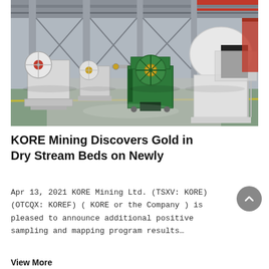[Figure (photo): Interior of a large industrial factory/warehouse with several heavy mining crusher machines on a concrete floor. Machines include jaw crushers painted white and one green machine. Steel columns and overhead cranes visible in background.]
KORE Mining Discovers Gold in Dry Stream Beds on Newly
Apr 13, 2021 KORE Mining Ltd. (TSXV: KORE) (OTCQX: KOREF) ( KORE or the Company ) is pleased to announce additional positive sampling and mapping program results…
View More